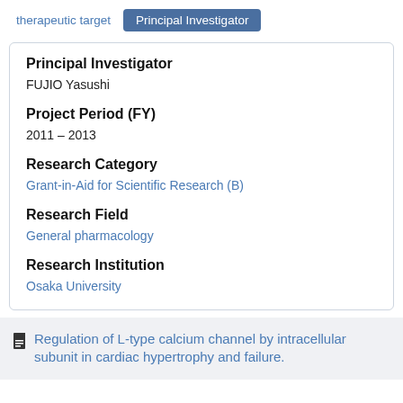therapeutic target | Principal Investigator
Principal Investigator
FUJIO Yasushi
Project Period (FY)
2011 – 2013
Research Category
Grant-in-Aid for Scientific Research (B)
Research Field
General pharmacology
Research Institution
Osaka University
Regulation of L-type calcium channel by intracellular subunit in cardiac hypertrophy and failure.